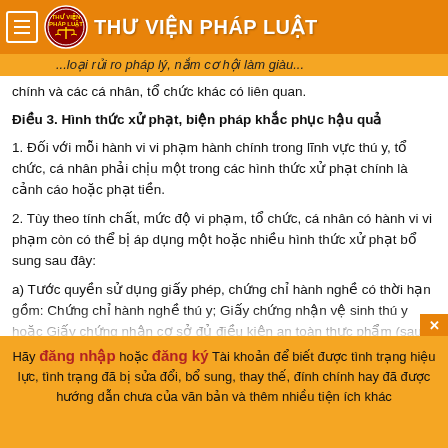THƯ VIỆN PHÁP LUẬT
...loại rủi ro pháp lý, nắm cơ hội làm giàu...
chính và các cá nhân, tổ chức khác có liên quan.
Điều 3. Hình thức xử phạt, biện pháp khắc phục hậu quả
1. Đối với mỗi hành vi vi phạm hành chính trong lĩnh vực thú y, tổ chức, cá nhân phải chịu một trong các hình thức xử phạt chính là cảnh cáo hoặc phạt tiền.
2. Tùy theo tính chất, mức độ vi phạm, tổ chức, cá nhân có hành vi vi phạm còn có thể bị áp dụng một hoặc nhiều hình thức xử phạt bổ sung sau đây:
a) Tước quyền sử dụng giấy phép, chứng chỉ hành nghề có thời hạn gồm: Chứng chỉ hành nghề thú y; Giấy chứng nhận vệ sinh thú y hoặc Giấy chứng nhận cơ sở đủ điều kiện an toàn thực phẩm (sau đây gọi chung là Giấy chứng nhận vệ sinh thú y); Giấy phép nhập khẩu thuốc thú y; Giấy chứng nhận đủ điều...
Hãy đăng nhập hoặc đăng ký Tài khoản để biết được tình trạng hiệu lực, tình trạng đã bị sửa đổi, bổ sung, thay thế, đính chính hay đã được hướng dẫn chưa của văn bản và thêm nhiều tiện ích khác